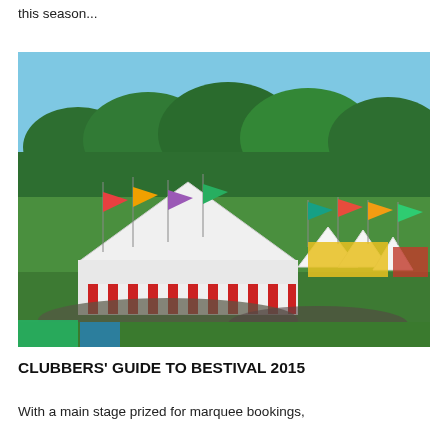this season...
[Figure (photo): Aerial view of Bestival festival grounds showing large white marquee tents, colorful flags and banners, crowds of people on a green field, surrounded by dense green trees under a blue sky.]
CLUBBERS' GUIDE TO BESTIVAL 2015
With a main stage prized for marquee bookings,